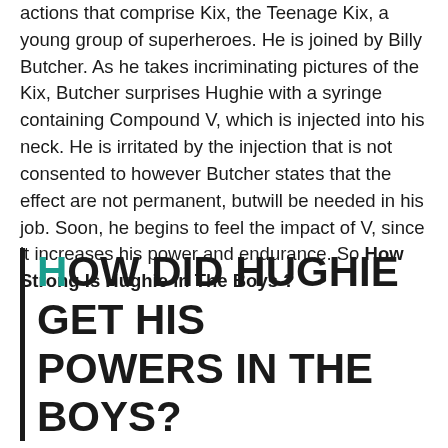actions that comprise Kix, the Teenage Kix, a young group of superheroes. He is joined by Billy Butcher. As he takes incriminating pictures of the Kix, Butcher surprises Hughie with a syringe containing Compound V, which is injected into his neck. He is irritated by the injection that is not consented to however Butcher states that the effect are not permanent, butwill be needed in his job. Soon, he begins to feel the impact of V, since it increases his power and endurance. So How Strong Is Hughie in The Boys ?
How did Hughie get his powers in The Boys?